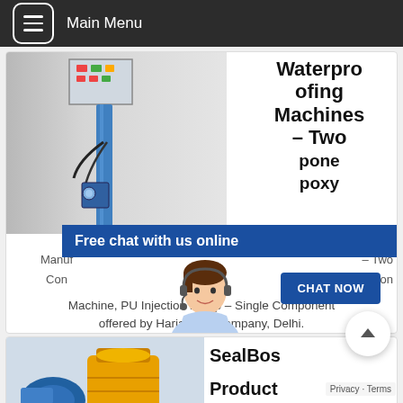Main Menu
[Figure (photo): Blue industrial waterproofing injection machine with control panel]
Waterproofing Machines – Two Component Epoxy
Free chat with us online
[Figure (illustration): Customer service representative avatar with headset]
CHAT NOW
Manuf – Two Component Injection Machine, PU Injection Pump – Single Component offered by Harjai And Company, Delhi.
[Figure (photo): Yellow industrial SealBoss product machine]
SealBos Product